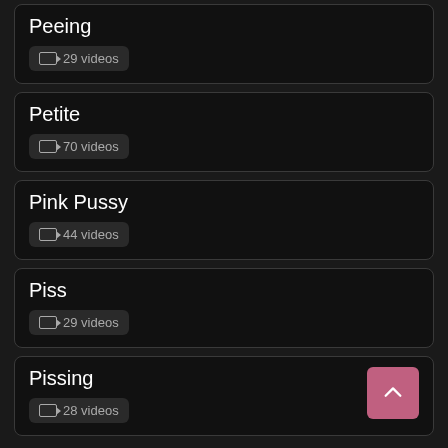Peeing — 29 videos
Petite — 70 videos
Pink Pussy — 44 videos
Piss — 29 videos
Pissing — 28 videos